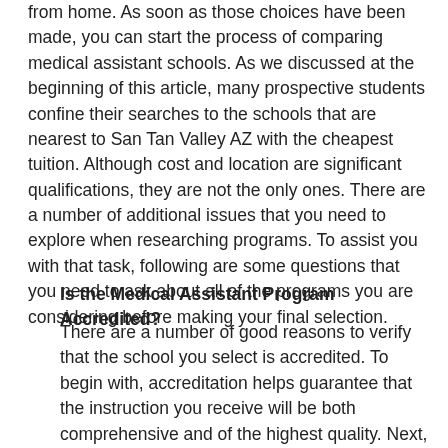from home. As soon as those choices have been made, you can start the process of comparing medical assistant schools. As we discussed at the beginning of this article, many prospective students confine their searches to the schools that are nearest to San Tan Valley AZ with the cheapest tuition. Although cost and location are significant qualifications, they are not the only ones. There are a number of additional issues that you need to explore when researching programs. To assist you with that task, following are some questions that you need to ask about all of the programs you are considering before making your final selection.
Is the Medical Assistant Program Accredited?
There are a number of good reasons to verify that the school you select is accredited. To begin with, accreditation helps guarantee that the instruction you receive will be both comprehensive and of the highest quality. Next, if you plan on becoming certified, you need